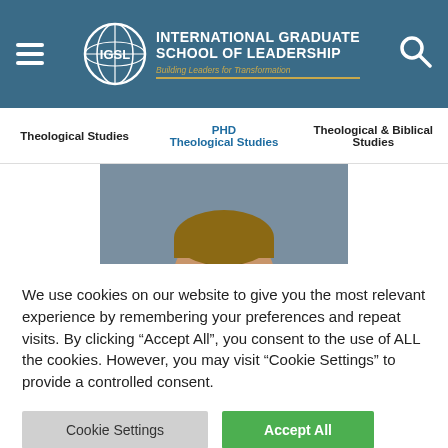INTERNATIONAL GRADUATE SCHOOL OF LEADERSHIP — Building Leaders for Transformation
Theological Studies | PHD Theological Studies | Theological & Biblical Studies
[Figure (photo): Headshot photo of Ryan Noltebieke, a man in a dark suit with a light background]
RYAN NOLTEBIEKE
We use cookies on our website to give you the most relevant experience by remembering your preferences and repeat visits. By clicking "Accept All", you consent to the use of ALL the cookies. However, you may visit "Cookie Settings" to provide a controlled consent.